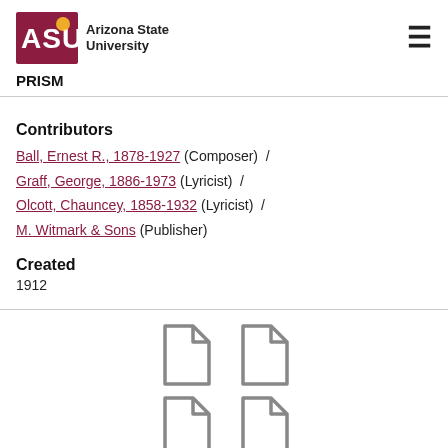ASU Arizona State University PRISM
Contributors
Ball, Ernest R., 1878-1927 (Composer) / Graff, George, 1886-1973 (Lyricist) / Olcott, Chauncey, 1858-1932 (Lyricist) / M. Witmark & Sons (Publisher)
Created
1912
[Figure (other): Four document/file icons arranged in a 2x2 grid]